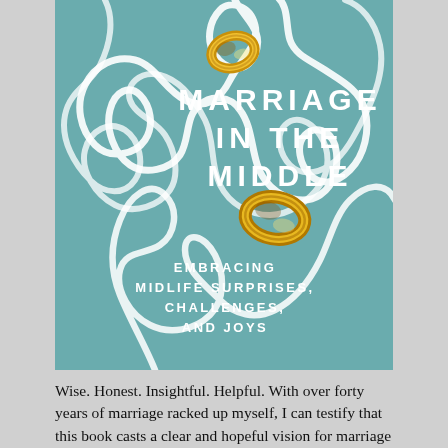[Figure (illustration): Book cover for 'Marriage in the Middle: Embracing Midlife Surprises, Challenges, and Joys'. Teal/muted blue-green background with white tangled rope/string forming abstract loops and curves across the entire cover. Two gold wedding rings are visible — one near the top center, one in the lower-center area interwoven with the rope. Title 'MARRIAGE IN THE MIDDLE' in large bold white spaced capitals. Subtitle 'EMBRACING MIDLIFE SURPRISES, CHALLENGES, AND JOYS' in smaller bold white spaced capitals below.]
Wise. Honest. Insightful. Helpful. With over forty years of marriage racked up myself, I can testify that this book casts a clear and hopeful vision for marriage in